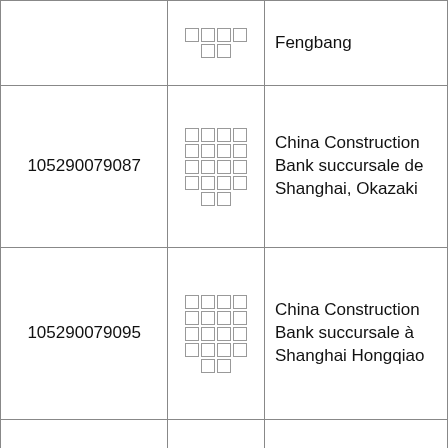|  | □□□□□□ | Fengbang |
| 105290079087 | □□□□□□□□□□□□□□□□□□□□□□ | China Construction Bank succursale de Shanghai, Okazaki |
| 105290079095 | □□□□□□□□□□□□□□□□□□□□□□ | China Construction Bank succursale à Shanghai Hongqiao |
| 105290079100 | □□□□□□□□□□□□□□□□□□□□□□ | China Construction Bank succursale à Shanghai Cao Wang |